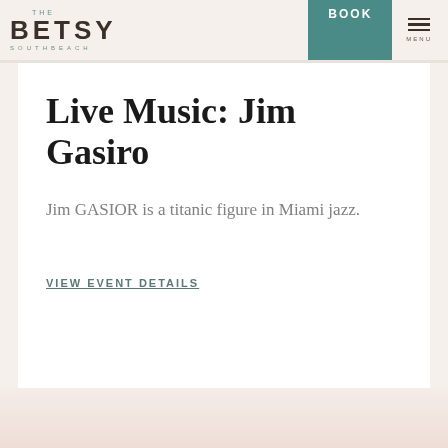THE BETSY SOUTHBEACH | BOOK | MENU
Live Music: Jim Gasiro
Jim GASIOR is a titanic figure in Miami jazz.
VIEW EVENT DETAILS